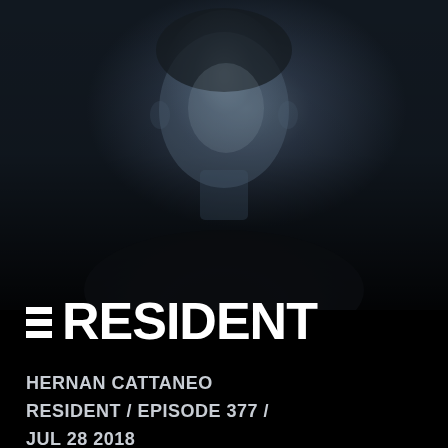[Figure (photo): Dark, moody portrait of Hernan Cattaneo against a near-black background, wearing a black shirt, with blue-grey toning.]
≡RESIDENT
HERNAN CATTANEO
RESIDENT / EPISODE 377 /
JUL 28 2018